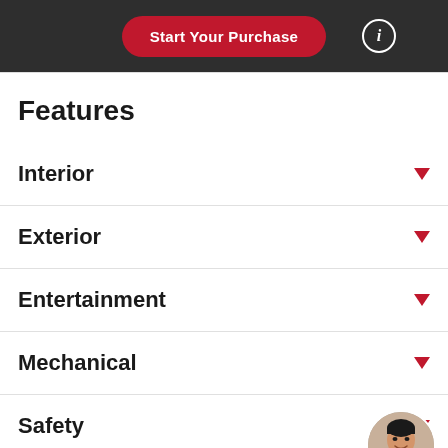Start Your Purchase
Features
Interior
Exterior
Entertainment
Mechanical
Safety